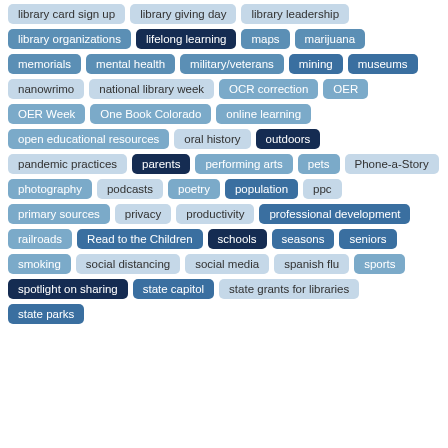[Figure (infographic): Tag cloud of library and education related topics displayed as colored pill/badge labels in various shades of blue, arranged in rows. Tags include: library card sign up, library giving day, library leadership, library organizations, lifelong learning, maps, marijuana, memorials, mental health, military/veterans, mining, museums, nanowrimo, national library week, OCR correction, OER, OER Week, One Book Colorado, online learning, open educational resources, oral history, outdoors, pandemic practices, parents, performing arts, pets, Phone-a-Story, photography, podcasts, poetry, population, ppc, primary sources, privacy, productivity, professional development, railroads, Read to the Children, schools, seasons, seniors, smoking, social distancing, social media, spanish flu, sports, spotlight on sharing, state capitol, state grants for libraries, state parks]